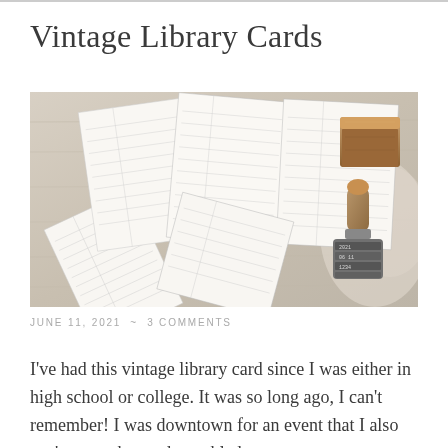Vintage Library Cards
[Figure (photo): Overhead photo of several vintage library checkout cards scattered on a worn wooden surface, alongside a wooden ink stamp box and a rolling date stamp with a wooden handle, and a piece of lace fabric.]
JUNE 11, 2021  ~  3 COMMENTS
I've had this vintage library card since I was either in high school or college. It was so long ago, I can't remember! I was downtown for an event that I also can't remember and stumbled across an enormous